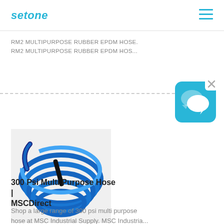setone
RM2 MULTIPURPOSE RUBBER EPDM HOSE.
RM2 MULTIPURPOSE RUBBER EPDM HOS...
[Figure (photo): Coiled blue and black rubber hose (300 Psi Multi Purpose Hose)]
[Figure (illustration): Blue chat/message bubble icon with X close button]
300 Psi Multi Purpose Hose | MSCDirect
Shop a large range of 300 psi multi purpose hose at MSC Industrial Supply. MSC Industria...